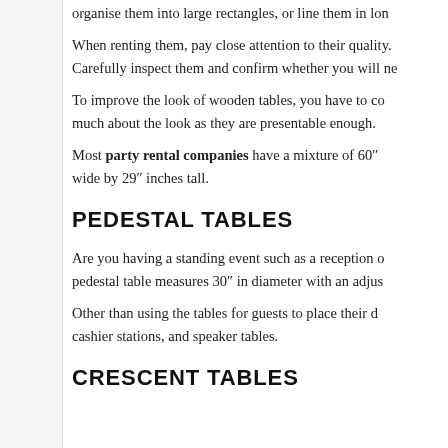organise them into large rectangles, or line them in lon
When renting them, pay close attention to their quality. Carefully inspect them and confirm whether you will ne
To improve the look of wooden tables, you have to co much about the look as they are presentable enough.
Most party rental companies have a mixture of 60" wide by 29" inches tall.
PEDESTAL TABLES
Are you having a standing event such as a reception o pedestal table measures 30" in diameter with an adjus
Other than using the tables for guests to place their d cashier stations, and speaker tables.
CRESCENT TABLES